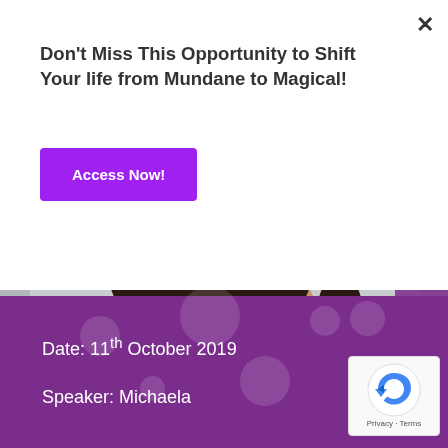Don't Miss This Opportunity to Shift Your life from Mundane to Magical!
Access Now!
[Figure (photo): Close-up photo of a smiling woman with dark hair wearing a black blouse with small jeweled accents and a delicate silver necklace, against a light grey background.]
Date: 11th October 2019
Speaker: Michaela